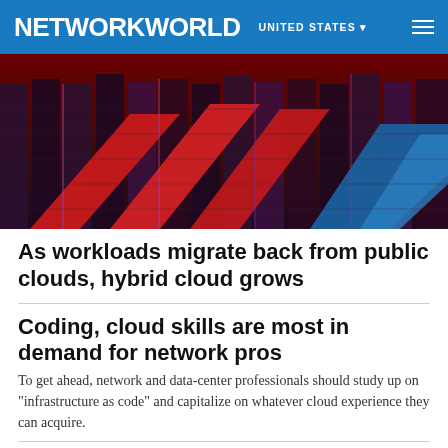NETWORKWORLD  UNITED STATES
[Figure (photo): Abstract data center image with red and blue diagonal shapes overlaid on server racks against a dramatic red sky background]
As workloads migrate back from public clouds, hybrid cloud grows
Coding, cloud skills are most in demand for network pros
To get ahead, network and data-center professionals should study up on "infrastructure as code" and capitalize on whatever cloud experience they can acquire.